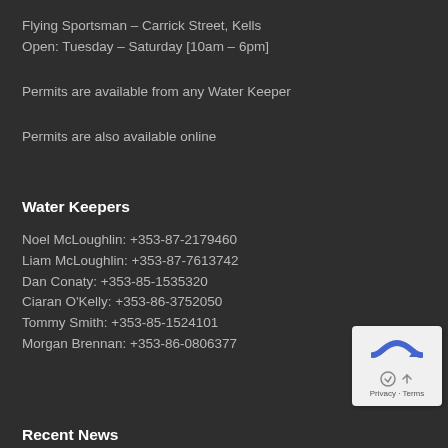Flying Sportsman – Carrick Street, Kells
Open: Tuesday – Saturday [10am – 6pm]
Permits are available from any Water Keeper
Permits are also available online
Water Keepers
Noel McLoughlin: +353-87-2179460
Liam McLoughlin: +353-87-7613742
Dan Conaty: +353-85-1535320
Ciaran O'Kelly: +353-86-3752050
Tommy Smith: +353-85-1524101
Morgan Brennan: +353-86-0806377
Recent News